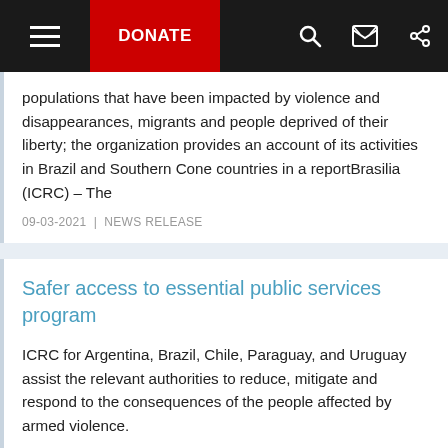DONATE
populations that have been impacted by violence and disappearances, migrants and people deprived of their liberty; the organization provides an account of its activities in Brazil and Southern Cone countries in a reportBrasilia (ICRC) – The
09-03-2021 | NEWS RELEASE
Safer access to essential public services program
ICRC for Argentina, Brazil, Chile, Paraguay, and Uruguay assist the relevant authorities to reduce, mitigate and respond to the consequences of the people affected by armed violence.
15-02-2021 | ARTICLE